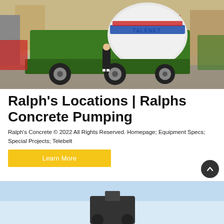[Figure (photo): A green TALENET self-loading concrete mixer truck with a person standing in front of it in an outdoor yard. The mixer drum is white with red and blue TALENET branding.]
Ralph's Locations | Ralphs Concrete Pumping
Ralph's Concrete © 2022 All Rights Reserved. Homepage; Equipment Specs; Special Projects; Telebelt
Learn More
[Figure (photo): Partial view of a second image at the bottom of the page, showing what appears to be construction equipment against a light blue sky background.]